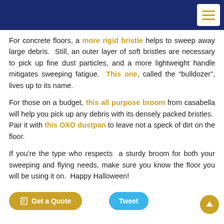Navigation header bar with menu button
For concrete floors, a more rigid bristle helps to sweep away large debris. Still, an outer layer of soft bristles are necessary to pick up fine dust particles, and a more lightweight handle mitigates sweeping fatigue. This one, called the “bulldozer”, lives up to its name.
For those on a budget, this all purpose broom from casabella will help you pick up any debris with its densely packed bristles. Pair it with this OXO dustpan to leave not a speck of dirt on the floor.
If you're the type who respects a sturdy broom for both your sweeping and flying needs, make sure you know the floor you will be using it on. Happy Halloween!